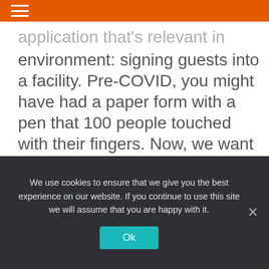☰
application that's relevant in today's environment: signing guests into a facility. Pre-COVID, you might have had a paper form with a pen that 100 people touched with their fingers. Now, we want to digitize the form. But where do we put it? We can put it on an iPad, but now you've got everyone's dirty fingers on the iPad.
We use cookies to ensure that we give you the best experience on our website. If you continue to use this site we will assume that you are happy with it.